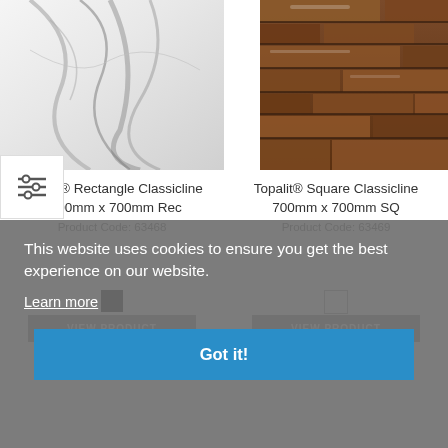[Figure (photo): Marble texture image for Topalit Rectangle Classicline product]
[Figure (photo): Rustic wood/brick texture image for Topalit Square Classicline product]
Topalit® Rectangle Classicline 1100mm x 700mm Rec
Product Code: 63468
Topalit® Square Classicline 700mm x 700mm SQ
Product Code: 63469
This website uses cookies to ensure you get the best experience on our website.
Learn more
Got it!